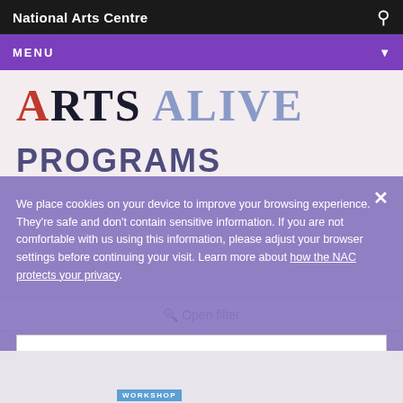National Arts Centre
MENU
ARTS ALIVE
PROGRAMS
We place cookies on your device to improve your browsing experience. They're safe and don't contain sensitive information. If you are not comfortable with us using this information, please adjust your browser settings before continuing your visit. Learn more about how the NAC protects your privacy.
Open filter
Ok, I understand